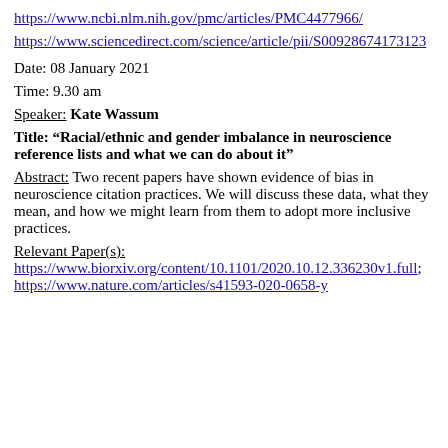https://www.ncbi.nlm.nih.gov/pmc/articles/PMC4477966/
https://www.sciencedirect.com/science/article/pii/S00928674173123
Date: 08 January 2021
Time: 9.30 am
Speaker: Kate Wassum
Title: “Racial/ethnic and gender imbalance in neuroscience reference lists and what we can do about it”
Abstract: Two recent papers have shown evidence of bias in neuroscience citation practices. We will discuss these data, what they mean, and how we might learn from them to adopt more inclusive practices.
Relevant Paper(s): https://www.biorxiv.org/content/10.1101/2020.10.12.336230v1.full; https://www.nature.com/articles/s41593-020-0658-y